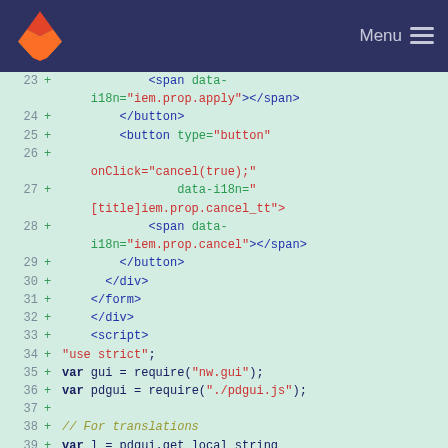GitLab navigation bar with Menu
[Figure (screenshot): Code diff view showing HTML and JavaScript lines 23-38 with additions marked by '+' on a light green background. Lines show HTML button/span elements and JavaScript var declarations.]